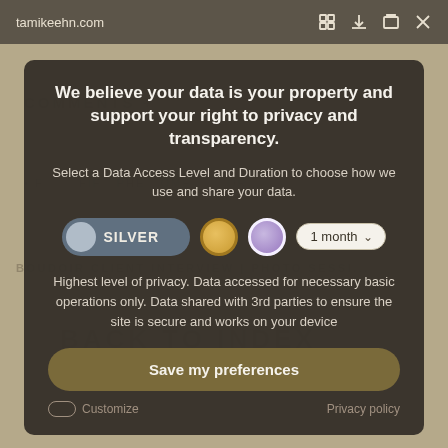tamikeehn.com
We believe your data is your property and support your right to privacy and transparency.
Select a Data Access Level and Duration to choose how we use and share your data.
[Figure (infographic): Privacy level selector with SILVER toggle (active), gold circle, purple circle, and 1 month dropdown]
Highest level of privacy. Data accessed for necessary basic operations only. Data shared with 3rd parties to ensure the site is secure and works on your device
Save my preferences
Customize   Privacy policy